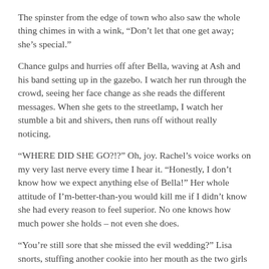The spinster from the edge of town who also saw the whole thing chimes in with a wink, “Don’t let that one get away; she’s special.”
Chance gulps and hurries off after Bella, waving at Ash and his band setting up in the gazebo. I watch her run through the crowd, seeing her face change as she reads the different messages. When she gets to the streetlamp, I watch her stumble a bit and shivers, then runs off without really noticing.
“WHERE DID SHE GO?!?” Oh, joy. Rachel’s voice works on my very last nerve every time I hear it. “Honestly, I don’t know how we expect anything else of Bella!” Her whole attitude of I’m-better-than-you would kill me if I didn’t know she had every reason to feel superior. No one knows how much power she holds – not even she does.
“You’re still sore that she missed the evil wedding?” Lisa snorts, stuffing another cookie into her mouth as the two girls brush past me. How that girl stays looking as sexy as she does with the way she constantly eats, I will never understand. Maybe some things in Gap will always be a mystery.